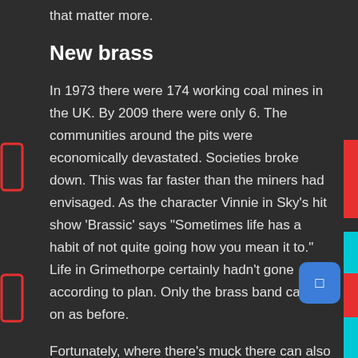that matter more.
New brass
In 1973 there were 174 working coal mines in the UK. By 2009 there were only 6. The communities around the pits were economically devastated. Societies broke down. This was far faster than the miners had envisaged. As the character Vinnie in Sky’s hit show ‘Brassic’ says “Sometimes life has a habit of not quite going how you mean it to.” Life in Grimethorpe certainly hadn’t gone according to plan. Only the brass band carried on as before.
Fortunately, where there’s muck there can also be brass. In the years since the colliery closed, Grimethorpe built on the investment work done